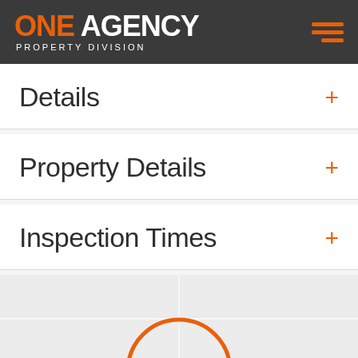ONE AGENCY PROPERTY DIVISION
Details
Property Details
Inspection Times
[Figure (map): Partial view of a map with an orange circular marker/pin element visible at the bottom of the page]